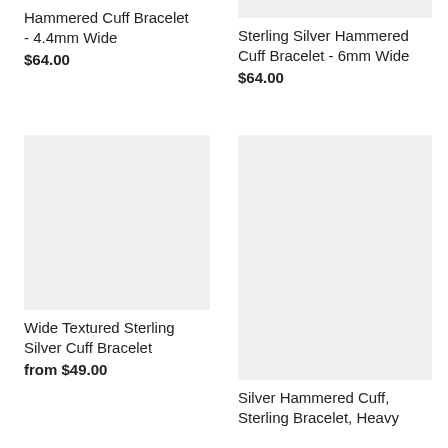[Figure (photo): Product image for Hammered Cuff Bracelet 4.4mm Wide (partially visible at top left)]
Hammered Cuff Bracelet - 4.4mm Wide
$64.00
[Figure (photo): Product image for Sterling Silver Hammered Cuff Bracelet 6mm Wide (partially visible at top right)]
Sterling Silver Hammered Cuff Bracelet - 6mm Wide
$64.00
[Figure (photo): Product image for Wide Textured Sterling Silver Cuff Bracelet]
Wide Textured Sterling Silver Cuff Bracelet
from $49.00
[Figure (photo): Product image for Silver Hammered Cuff, Sterling Bracelet, Heavy (partially visible)]
Silver Hammered Cuff, Sterling Bracelet, Heavy